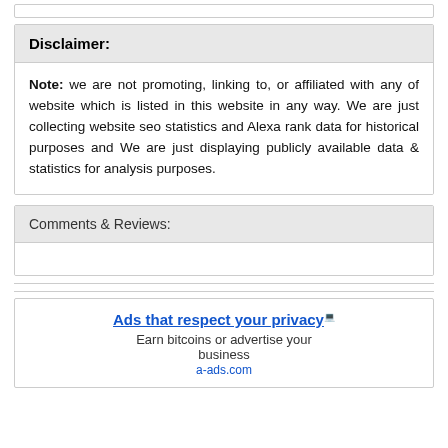Disclaimer:
Note: we are not promoting, linking to, or affiliated with any of website which is listed in this website in any way. We are just collecting website seo statistics and Alexa rank data for historical purposes and We are just displaying publicly available data & statistics for analysis purposes.
Comments & Reviews:
Ads that respect your privacy
Earn bitcoins or advertise your business
a-ads.com